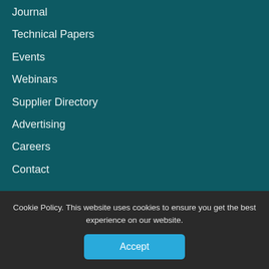Journal
Technical Papers
Events
Webinars
Supplier Directory
Advertising
Careers
Contact
Follow Us
Twitter
Facebook
LinkedIn
YouTube
Cookie Policy. This website uses cookies to ensure you get the best experience on our website.